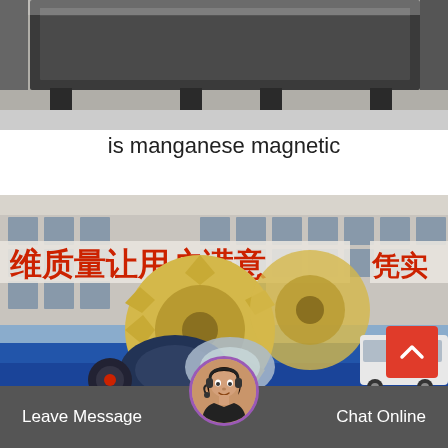[Figure (photo): Photo of dark grey metal industrial equipment/frame in a workshop or factory setting]
is manganese magnetic
[Figure (photo): Photo of a large yellow gear/wheel sand washing machine (blue base) in front of a Chinese factory building with Chinese characters on the wall reading approximately '维质量让用户满意' and '凭实'. A white van is visible in the background.]
Leave Message
Chat Online